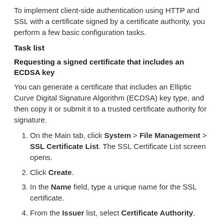To implement client-side authentication using HTTP and SSL with a certificate signed by a certificate authority, you perform a few basic configuration tasks.
Task list
Requesting a signed certificate that includes an ECDSA key
You can generate a certificate that includes an Elliptic Curve Digital Signature Algorithm (ECDSA) key type, and then copy it or submit it to a trusted certificate authority for signature.
On the Main tab, click System > File Management > SSL Certificate List. The SSL Certificate List screen opens.
Click Create.
In the Name field, type a unique name for the SSL certificate.
From the Issuer list, select Certificate Authority.
In the Common Name field, type a name.